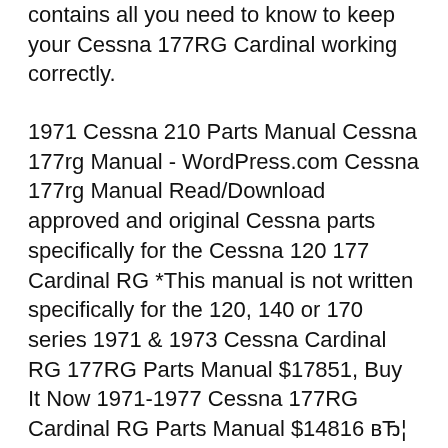contains all you need to know to keep your Cessna 177RG Cardinal working correctly.
1971 Cessna 210 Parts Manual Cessna 177rg Manual - WordPress.com Cessna 177rg Manual Read/Download approved and original Cessna parts specifically for the Cessna 120 177 Cardinal RG *This manual is not written specifically for the 120, 140 or 170 series 1971 & 1973 Cessna Cardinal RG 177RG Parts Manual $17851, Buy It Now 1971-1977 Cessna 177RG Cardinal RG Parts Manual $14816 вЂ¦ $924.99, or 1971 & 1972 Cessna Cardinal RG 177RG Parts Manual. We also had a Cessna 195 with an air ambulance kit but it was